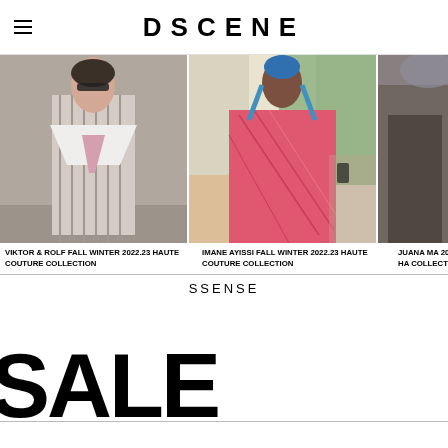DSCENE
[Figure (photo): Fashion runway photo of Viktor & Rolf model in striped off-shoulder look with pink bow tie]
[Figure (photo): Fashion runway photo of Imane Ayissi model in pink patterned dress with blue earrings]
[Figure (photo): Fashion runway photo partially visible, Juana Ma collection]
VIKTOR & ROLF FALL WINTER 2022.23 HAUTE COUTURE COLLECTION
IMANE AYISSI FALL WINTER 2022.23 HAUTE COUTURE COLLECTION
JUANA MA 2022.23 HA COLLECTIO
SSENSE
SALE